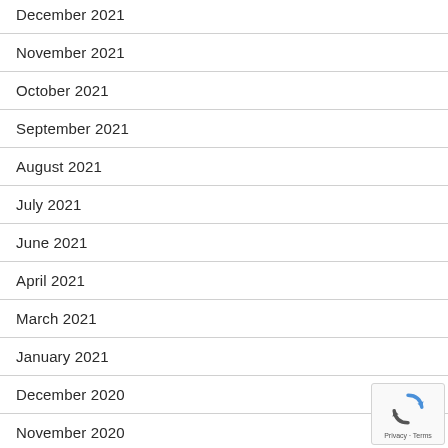December 2021
November 2021
October 2021
September 2021
August 2021
July 2021
June 2021
April 2021
March 2021
January 2021
December 2020
November 2020
[Figure (logo): reCAPTCHA badge with spinning arrows logo and Privacy - Terms text]